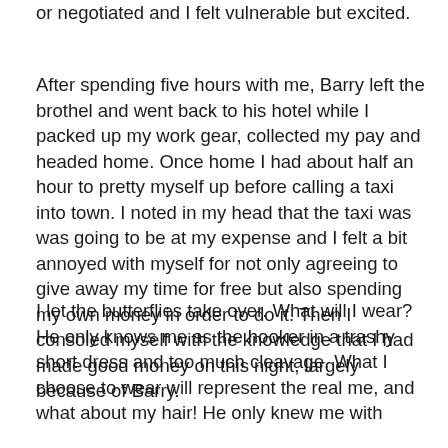or negotiated and I felt vulnerable but excited.
After spending five hours with me, Barry left the brothel and went back to his hotel while I packed up my work gear, collected my pay and headed home. Once home I had about half an hour to pretty myself up before calling a taxi into town. I noted in my head that the taxi was was going to be at my expense and I felt a bit annoyed with myself for not only agreeing to give away my time for free but also spending my own money in order to do it. Then I consoled myself with the knowledge that I had made good money on this night, largely because of Barry.
I let the butterflies take over. What will I wear? He only knows me as the hooker in a trashy short dress and too much cleavage. What I choose to wear will represent the real me, and what about my hair! He only knew me with